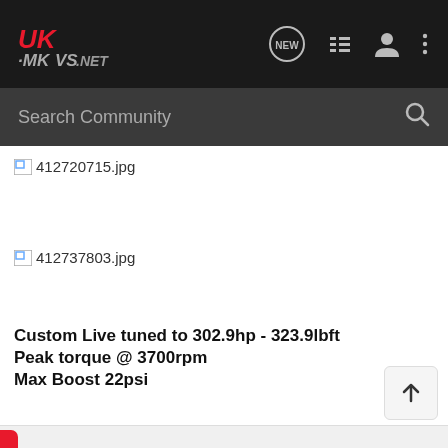UK-MKVS.NET navigation bar with search
[Figure (screenshot): Broken image placeholder for 412720715.jpg]
[Figure (screenshot): Broken image placeholder for 412737803.jpg]
Custom Live tuned to 302.9hp - 323.9lbft
Peak torque @ 3700rpm
Max Boost 22psi
[Figure (screenshot): Broken image placeholder for 412713148.jpg]